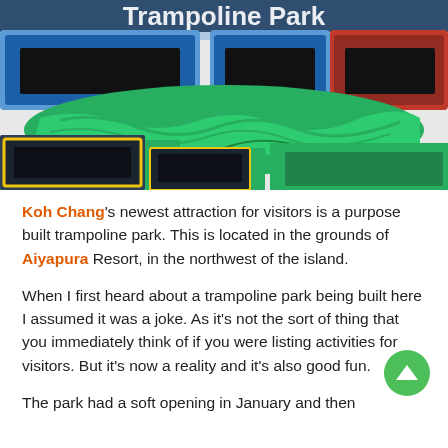[Figure (photo): Interior photograph of a trampoline park showing colorful blue, red, and green trampolines with padded borders. The foreground features dark trampolines with yellow outlines and large green inflatable crash bags. The background shows blue and red framed trampolines. Text 'Trampoline Park' partially visible at top.]
Koh Chang's newest attraction for visitors is a purpose built trampoline park.  This is located in the grounds of Aiyapura Resort, in the northwest of the island.
When I first heard about a trampoline park being built here I assumed it was a joke.  As it's not the sort of thing that you immediately think of if you were listing activities for visitors.  But it's now a reality and it's also good fun.
The park had a soft opening in January and then